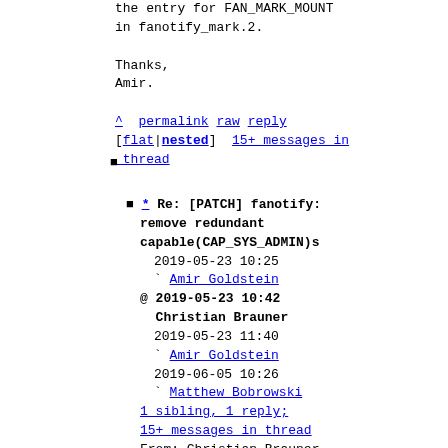the entry for FAN_MARK_MOUNT in fanotify_mark.2.
Thanks,
Amir.
^ permalink raw reply [flat|nested] 15+ messages in thread
* Re: [PATCH] fanotify: remove redundant capable(CAP_SYS_ADMIN)s 2019-05-23 10:25 Amir Goldstein @ 2019-05-23 10:42 Christian Brauner 2019-05-23 11:40 Amir Goldstein 2019-06-05 10:26 Matthew Bobrowski 1 sibling, 1 reply; 15+ messages in thread From: Christian Brauner @ 2019-05-23 10:42 UTC (permalink / raw) To: Amir Goldstein; +Cc: Jan Kara, linux-fsdevel, linux-kernel,